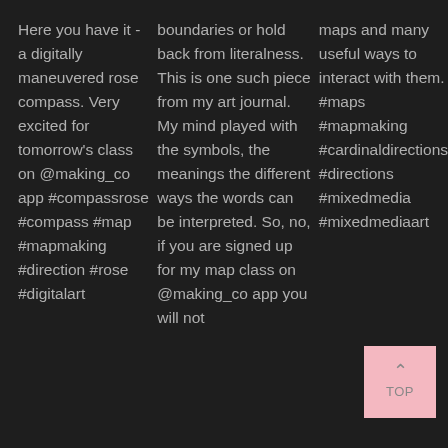Here you have it - a digitally maneuvered rose compass. Very excited for tomorrow's class on @making_co app #compassrose #compass #map #mapmaking #direction #rose #digitalart
boundaries or hold back from literalness. This is one such piece from my art journal. My mind played with the symbols, the meanings the different ways the words can be interpreted. So, no, if you are signed up for my map class on @making_co app you will not
maps and many useful ways to interact with them. #maps #mapmaking #cardinaldirections #directions #mixedmedia #mixedmediaart